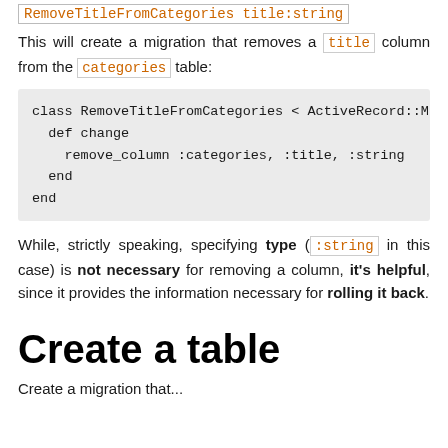RemoveTitleFromCategories title:string
This will create a migration that removes a title column from the categories table:
class RemoveTitleFromCategories < ActiveRecord::M
  def change
    remove_column :categories, :title, :string
  end
end
While, strictly speaking, specifying type (:string in this case) is not necessary for removing a column, it's helpful, since it provides the information necessary for rolling it back.
Create a table
Create a migration that...